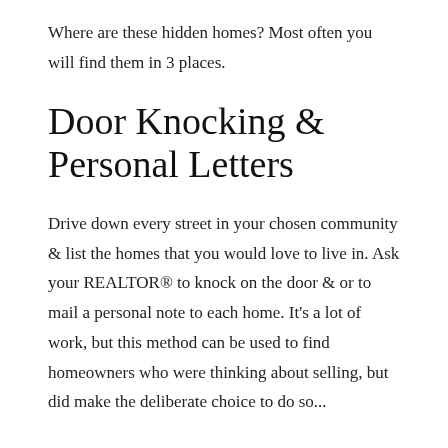Where are these hidden homes? Most often you will find them in 3 places.
Door Knocking & Personal Letters
Drive down every street in your chosen community & list the homes that you would love to live in. Ask your REALTOR® to knock on the door & or to mail a personal note to each home. It's a lot of work, but this method can be used to find homeowners who were thinking about selling, but did make the deliberate choice to do so...